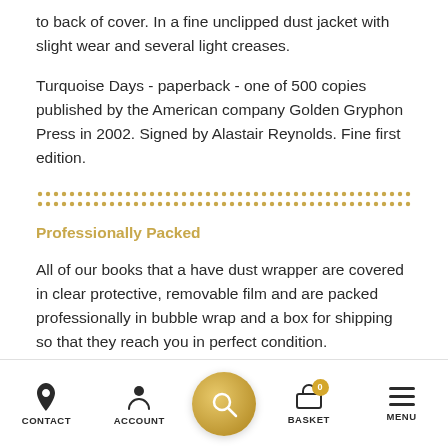to back of cover. In a fine unclipped dust jacket with slight wear and several light creases.
Turquoise Days - paperback - one of 500 copies published by the American company Golden Gryphon Press in 2002. Signed by Alastair Reynolds. Fine first edition.
Professionally Packed
All of our books that a have dust wrapper are covered in clear protective, removable film and are packed professionally in bubble wrap and a box for shipping so that they reach you in perfect condition.
CONTACT   ACCOUNT   BASKET   MENU